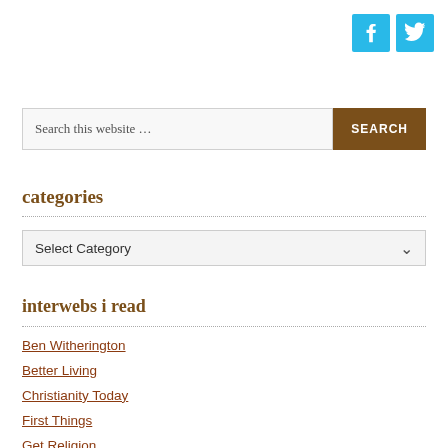[Figure (logo): Facebook icon - blue square with white F letter]
[Figure (logo): Twitter icon - blue square with white bird logo]
Search this website …
categories
Select Category
interwebs i read
Ben Witherington
Better Living
Christianity Today
First Things
Get Religion
her-meneutics